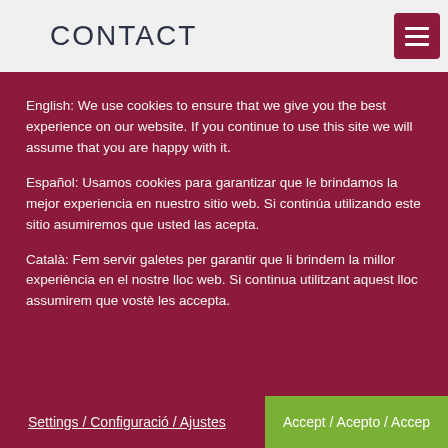CONTACT
English: We use cookies to ensure that we give you the best experience on our website. If you continue to use this site we will assume that you are happy with it.
Español: Usamos cookies para garantizar que le brindamos la mejor experiencia en nuestro sitio web. Si continúa utilizando este sitio asumiremos que usted las acepta.
Català: Fem servir galetes per garantir que li brindem la millor experiència en el nostre lloc web. Si continua utilitzant aquest lloc assumirem que vostè les accepta.
Settings / Configuració / Ajustes    Accept / Acepto / Accep